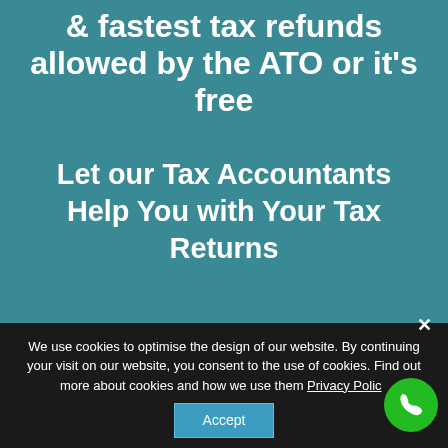& fastest tax refunds allowed by the ATO or it's free
Let our Tax Accountants Help You with Your Tax Returns
Get In Touch!
Phone: (08) 9248 8124
Fax: (08) 9463 6208
We use cookies to optimise the design of our website. By continuing your visit on our website, you consent to the use of cookies. Find out more about cookies and how we use them Privacy Policy
Accept